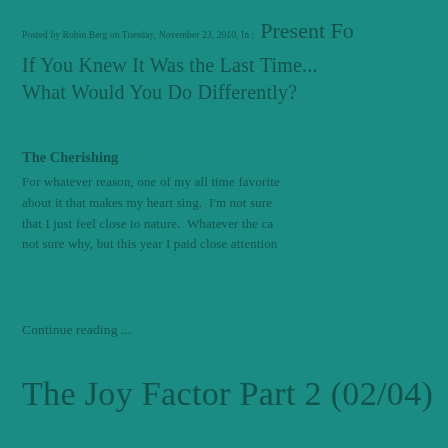Posted by Robin Berg on Tuesday, November 23, 2010, In :  Present Fo
If You Knew It Was the Last Time...
What Would You Do Differently?
The Cherishing
For whatever reason, one of my all time favorite about it that makes my heart sing.  I'm not sure that I just feel close to nature.  Whatever the ca not sure why, but this year I paid close attention
Continue reading ...
The Joy Factor Part 2 (02/04)